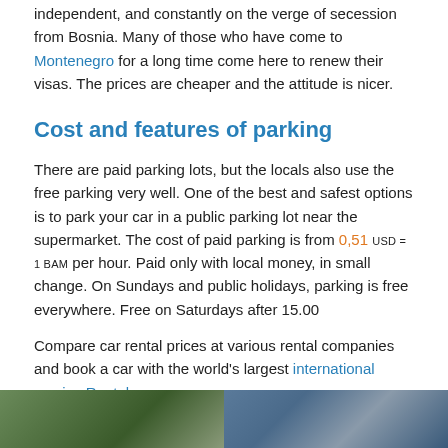independent, and constantly on the verge of secession from Bosnia. Many of those who have come to Montenegro for a long time come here to renew their visas. The prices are cheaper and the attitude is nicer.
Cost and features of parking
There are paid parking lots, but the locals also use the free parking very well. One of the best and safest options is to park your car in a public parking lot near the supermarket. The cost of paid parking is from 0,51 USD = 1 BAM per hour. Paid only with local money, in small change. On Sundays and public holidays, parking is free everywhere. Free on Saturdays after 15.00
Compare car rental prices at various rental companies and book a car with the world's largest international service Rentalcars
[Figure (photo): Two photos side by side at the bottom of the page: left shows a tree/building scene, right shows a colorful market or sign scene.]